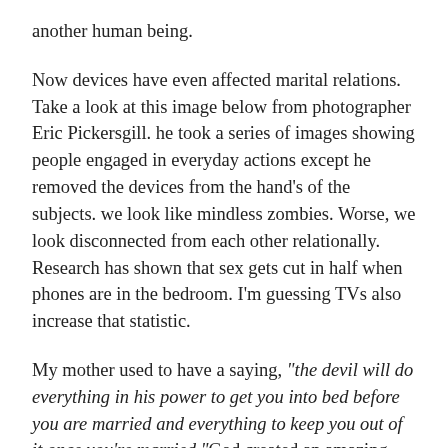another human being.
Now devices have even affected marital relations. Take a look at this image below from photographer Eric Pickersgill. he took a series of images showing people engaged in everyday actions except he removed the devices from the hand's of the subjects. we look like mindless zombies. Worse, we look disconnected from each other relationally. Research has shown that sex gets cut in half when phones are in the bedroom. I'm guessing TVs also increase that statistic.
My mother used to have a saying, “the devil will do everything in his power to get you into bed before you are married and everything to keep you out of it once you’re married.” God created an amazing bonding experience for a married couple when he created sex. A husband and wife can never be more physically close than the act of sex and sexual intimacy is the catalyst for all kinds of other emotional intimacy. They go hand in hand. Wives, we must make ourselves available to our